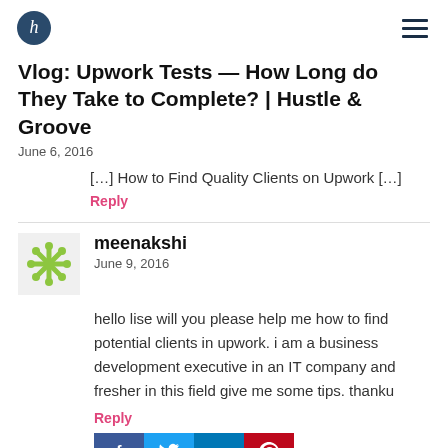Hustle & Groove logo and navigation
Vlog: Upwork Tests — How Long do They Take to Complete? | Hustle & Groove
June 6, 2016
[…] How to Find Quality Clients on Upwork […]
Reply
meenakshi
June 9, 2016
hello lise will you please help me how to find potential clients in upwork. i am a business development executive in an IT company and fresher in this field give me some tips. thanku
Reply
Lise Cartwright